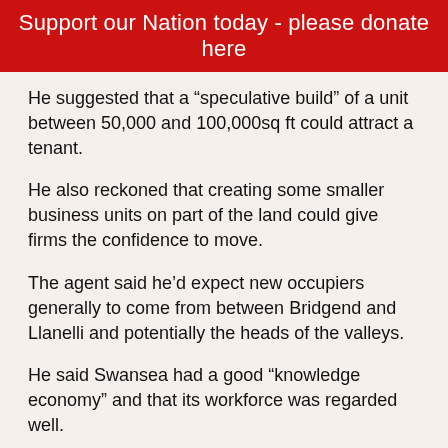Support our Nation today - please donate here
He suggested that a “speculative build” of a unit between 50,000 and 100,000sq ft could attract a tenant.
He also reckoned that creating some smaller business units on part of the land could give firms the confidence to move.
The agent said he’d expect new occupiers generally to come from between Bridgend and Llanelli and potentially the heads of the valleys.
He said Swansea had a good “knowledge economy” and that its workforce was regarded well.
He added that attracting companies to industrial land throughout South Wales, not just Swansea, might need “a bit of a mind shift”.